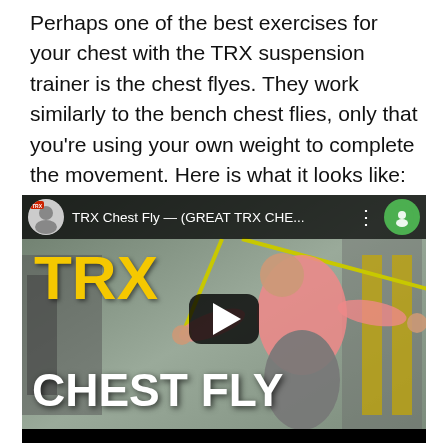Perhaps one of the best exercises for your chest with the TRX suspension trainer is the chest flyes. They work similarly to the bench chest flies, only that you're using your own weight to complete the movement. Here is what it looks like:
[Figure (screenshot): YouTube video thumbnail/player showing a TRX Chest Fly exercise video. The video player has a dark top bar with channel icon, title 'TRX Chest Fly — (GREAT TRX CHE...' and a green YouTube icon. The main image shows a man in a pink shirt performing a TRX chest fly exercise in a gym. Yellow bold text 'TRX' appears on the left, white bold text 'CHEST FLY' appears at the bottom. A dark play button triangle is centered on the image.]